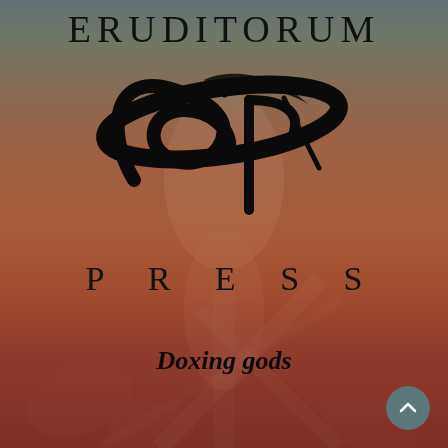[Figure (logo): Eruditorum Press logo: large stylized 'EP' monogram in black calligraphic script with an oval swoosh, above the word PRESS in wide-spaced serif capitals, on a painted background of muted teal/blue at top fading to warm amber and deep red, with a faint classical figure painting visible in the background]
ERUDITORUM
PRESS
Doxing gods